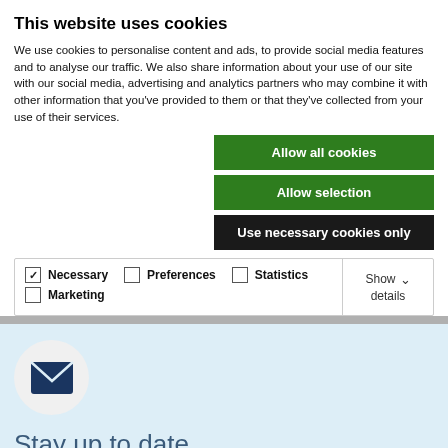This website uses cookies
We use cookies to personalise content and ads, to provide social media features and to analyse our traffic. We also share information about your use of our site with our social media, advertising and analytics partners who may combine it with other information that you've provided to them or that they've collected from your use of their services.
Allow all cookies
Allow selection
Use necessary cookies only
| ✓ Necessary | □ Preferences | □ Statistics | Show details ∨ |
| □ Marketing |  |  |  |
[Figure (illustration): Dark blue envelope icon inside a light grey circle, on a light blue background]
Stay up to date
Sign up for the Vikan Newsletter today